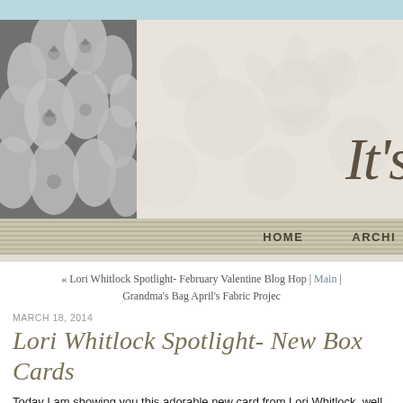[Figure (illustration): Blog header banner with black-and-white flower photo on left and decorative floral watermark background on right with italic script text 'It's' partially visible]
HOME   ARCHI
« Lori Whitlock Spotlight- February Valentine Blog Hop | Main | Grandma's Bag April's Fabric Projec
MARCH 18, 2014
Lori Whitlock Spotlight- New Box Cards
Today I am showing you this adorable new card from Lori Whitlock. well actually, it's a box card.  Super cute, either way you look at it!! objects that are special and do different things.  This standalone bo into a regular A2 envelope.